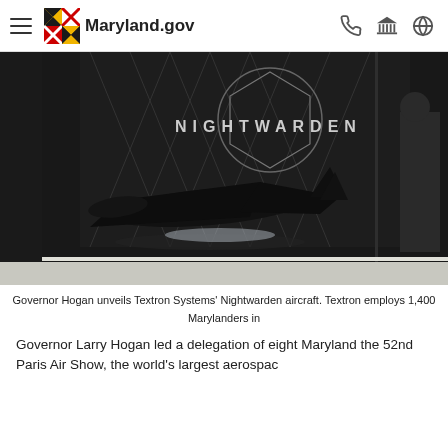Maryland.gov
[Figure (photo): Dark display booth for 'NIGHTWARDEN' aircraft by Textron Systems. A sleek black unmanned aircraft is visible in front of the dark backdrop with the NIGHTWARDEN logo and diamond lattice design. A person stands to the right.]
Governor Hogan unveils Textron Systems' Nightwarden aircraft. Textron employs 1,400 Marylanders in
Governor Larry Hogan led a delegation of eight Maryland the 52nd Paris Air Show, the world's largest aerospace